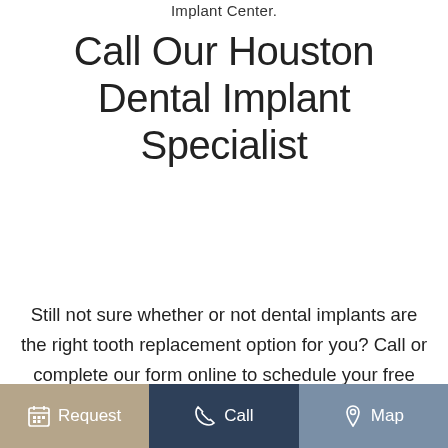Implant Center.
Call Our Houston Dental Implant Specialist
Still not sure whether or not dental implants are the right tooth replacement option for you? Call or complete our form online to schedule your free Houston dental implants consultation. Our team is ready to answer your questions, and thoroughly explain the benefits of dental implant tooth replacement.
Request  Call  Map